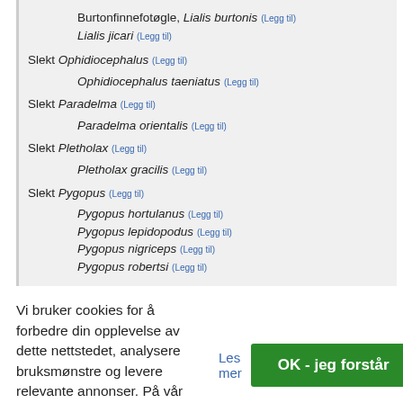Burtonfinnefotøgle, Lialis burtonis (Legg til) Lialis jicari (Legg til)
Slekt Ophidiocephalus (Legg til)
Ophidiocephalus taeniatus (Legg til)
Slekt Paradelma (Legg til)
Paradelma orientalis (Legg til)
Slekt Pletholax (Legg til)
Pletholax gracilis (Legg til)
Slekt Pygopus (Legg til)
Pygopus hortulanus (Legg til)
Pygopus lepidopodus (Legg til)
Pygopus nigriceps (Legg til)
Pygopus robertsi (Legg til)
Vi bruker cookies for å forbedre din opplevelse av dette nettstedet, analysere bruksmønstre og levere relevante annonser. På vår personvernerklæringsside kan du lese mer om dette.